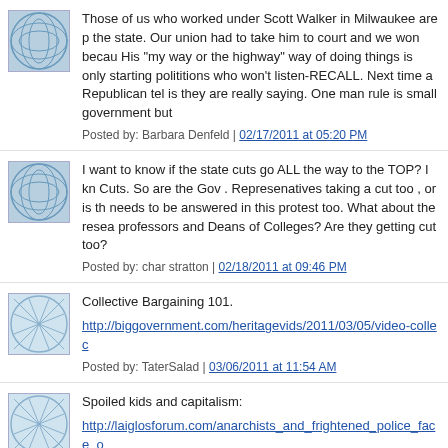Those of us who worked under Scott Walker in Milwaukee are p the state. Our union had to take him to court and we won becau His "my way or the highway" way of doing things is only starting polititions who won't listen-RECALL. Next time a Republican tel is they are really saying. One man rule is small government but
Posted by: Barbara Denfeld | 02/17/2011 at 05:20 PM
I want to know if the state cuts go ALL the way to the TOP? I kn Cuts. So are the Gov . Represenatives taking a cut too , or is th needs to be answered in this protest too. What about the resea professors and Deans of Colleges? Are they getting cut too?
Posted by: char stratton | 02/18/2011 at 09:46 PM
Collective Bargaining 101.
http://biggovernment.com/heritagevids/2011/03/05/video-collec
Posted by: TaterSalad | 03/06/2011 at 11:54 AM
Spoiled kids and capitalism:
http://laiglosforum.com/anarchists_and_frightened_police_face_o